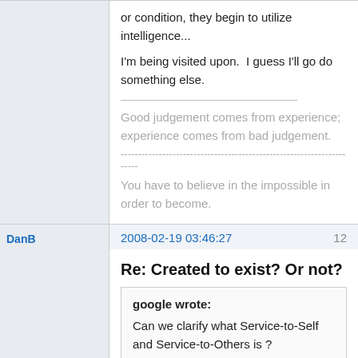or condition, they begin to utilize intelligence...
I'm being visited upon.  I guess I'll go do something else.
Good judgement comes from experience; experience comes from bad judgement.
You have to believe in the impossible in order to become.
DanB
2008-02-19 03:46:27
12
Re: Created to exist? Or not?
google wrote: Can we clarify what Service-to-Self and Service-to-Others is ? I've never been clear on that.